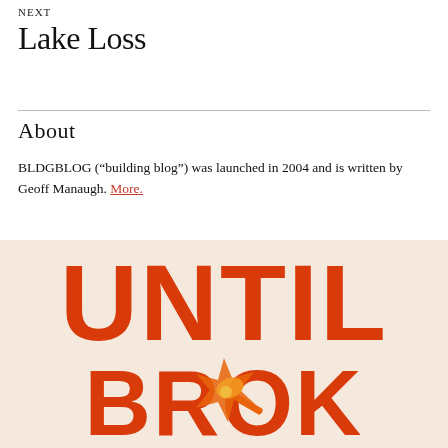NEXT
Lake Loss
About
BLDGBLOG (“building blog”) was launched in 2004 and is written by Geoff Manaugh. More.
[Figure (illustration): Book cover or promotional image with large bold orange-red text reading 'UNTIL' on a light peach/cream background, with partial text below and a graphic element resembling a mechanical/robotic figure or tool in orange and yellow tones.]